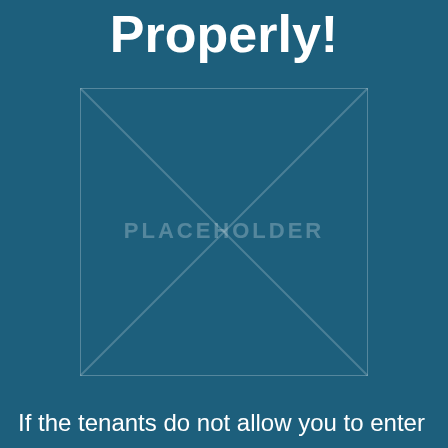Properly!
[Figure (illustration): Placeholder image box with crossed diagonal lines and 'PLACEHOLDER' text in center, on dark teal background]
If the tenants do not allow you to enter